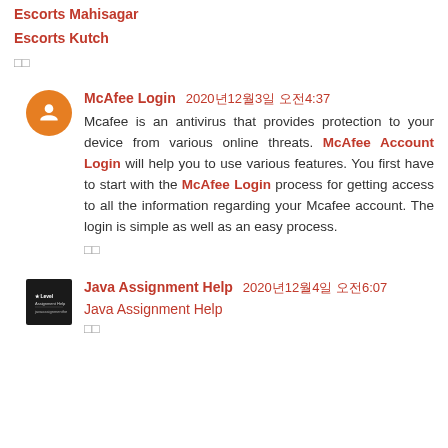Escorts Mahisagar
Escorts Kutch
□□
McAfee Login  2020년12월3일 오전4:37
Mcafee is an antivirus that provides protection to your device from various online threats. McAfee Account Login will help you to use various features. You first have to start with the McAfee Login process for getting access to all the information regarding your Mcafee account. The login is simple as well as an easy process.
□□
Java Assignment Help  2020년12월4일 오전6:07
Java Assignment Help
□□